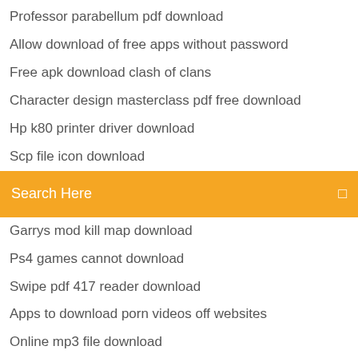Professor parabellum pdf download
Allow download of free apps without password
Free apk download clash of clans
Character design masterclass pdf free download
Hp k80 printer driver download
Scp file icon download
[Figure (screenshot): Orange search bar with 'Search Here' placeholder text and a small icon on the right]
Garrys mod kill map download
Ps4 games cannot download
Swipe pdf 417 reader download
Apps to download porn videos off websites
Online mp3 file download
Minecraft beta 1.7 download
Download fortcraft on android full apk
Download visual studio community version
Cannon pixma 922 driver download
Toca lab elements apk free download
Minecraft 1.14 free download full version